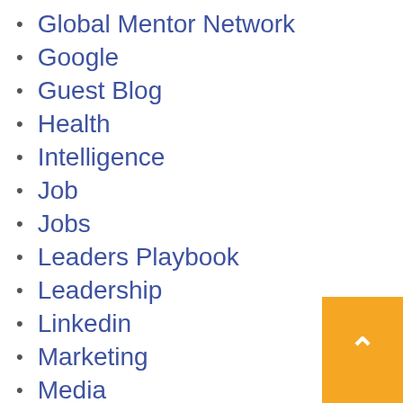Global Mentor Network
Google
Guest Blog
Health
Intelligence
Job
Jobs
Leaders Playbook
Leadership
Linkedin
Marketing
Media
Millennials
Miscellaneous
Motivation
Motivational